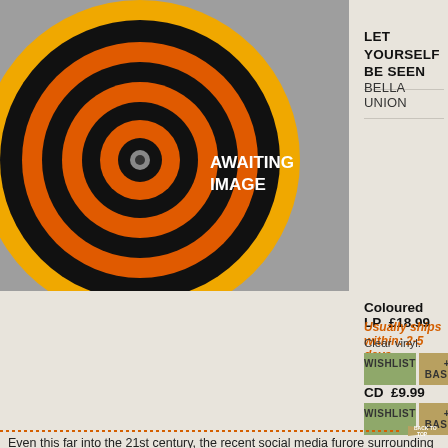[Figure (illustration): Album placeholder image with concentric vinyl record circles in orange, black, and yellow on grey background with text AWAITING IMAGE]
LET YOURSELF BE SEEN
BELLA UNION
Coloured LP  £18.99
Usually ships within: 2-5 days
Clear vinyl.
WISHLIST
+ BASKET
CD  £9.99
WISHLIST
+ BASKET
Even this far into the 21st century, the recent social media furore surrounding US congresswoman and free-style dancer Alexandria Ocasio-Cortez illustrated that the spectacle of someone dancing without compunction can still ruffle the right (and alt-right) feathers. In which case, all hail the third album from [+]